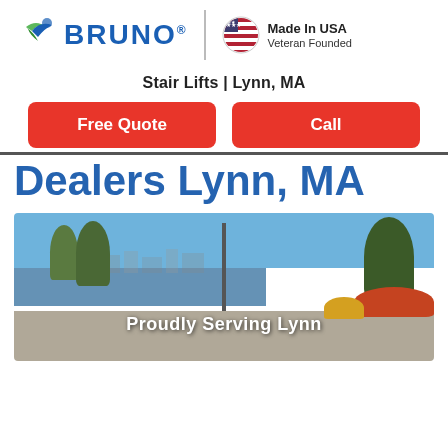[Figure (logo): Bruno logo with blue bird icon and text 'BRUNO' in blue, vertical divider, and 'Made In USA Veteran Founded' badge with US flag circle]
Stair Lifts | Lynn, MA
Free Quote
Call
Dealers Lynn, MA
[Figure (photo): Outdoor photo of Lynn, MA waterfront park area with trees, a lamp post, water in background, and flowers on the right. Overlay text reads 'Proudly Serving Lynn']